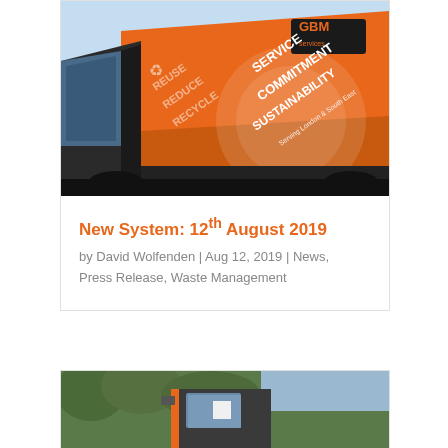[Figure (photo): Orange GBM Services waste truck showing branding with text: SERVICE, COMMITMENT, SUSTAINABILITY, Serving London & South East, Reuse Reduce Recycle. Photo taken from below angle against blue sky.]
New System: 12th August 2019
by David Wolfenden | Aug 12, 2019 | News, Press Release, Waste Management
[Figure (photo): Partial view of orange waste management vehicle cab, showing the side mirror and cab door, with green trees in background.]